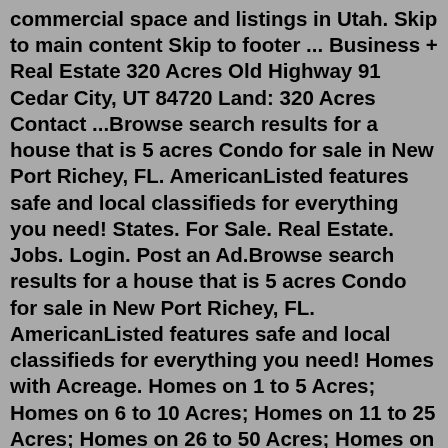commercial space and listings in Utah. Skip to main content Skip to footer ... Business + Real Estate 320 Acres Old Highway 91 Cedar City, UT 84720 Land: 320 Acres Contact ...Browse search results for a house that is 5 acres Condo for sale in New Port Richey, FL. AmericanListed features safe and local classifieds for everything you need! States. For Sale. Real Estate. Jobs. Login. Post an Ad.Browse search results for a house that is 5 acres Condo for sale in New Port Richey, FL. AmericanListed features safe and local classifieds for everything you need! Homes with Acreage. Homes on 1 to 5 Acres; Homes on 6 to 10 Acres; Homes on 11 to 25 Acres; Homes on 26 to 50 Acres; Homes on 51 to 100 Acs; Homes on over 100 Acres; Land. City Lots - Up to $80,000; City Lots - Over $80,000. The Heights of Windcrest Lots for Sale; Acreage Subdivision Lots; Boot Ranch Lots For Sale; Commercial Real Estate ...R 640 000 2 Bedroom Townhouse Birch Acres This 2 bedroom townhouse is situated in a well secured complex in Birch acres. It offers a small private garden, as well as a lockable...